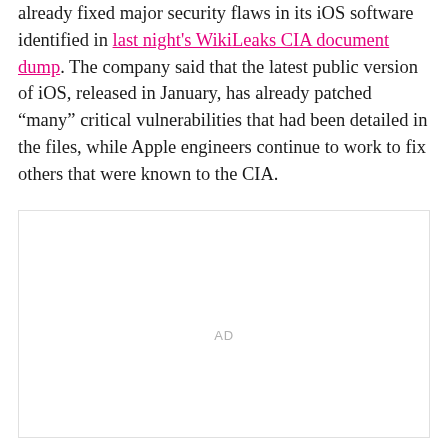already fixed major security flaws in its iOS software identified in last night's WikiLeaks CIA document dump. The company said that the latest public version of iOS, released in January, has already patched “many” critical vulnerabilities that had been detailed in the files, while Apple engineers continue to work to fix others that were known to the CIA.
AD